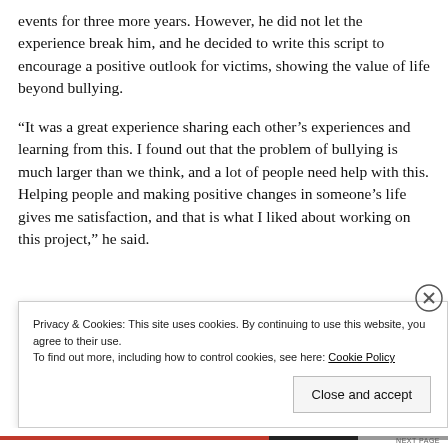events for three more years. However, he did not let the experience break him, and he decided to write this script to encourage a positive outlook for victims, showing the value of life beyond bullying.
“It was a great experience sharing each other’s experiences and learning from this. I found out that the problem of bullying is much larger than we think, and a lot of people need help with this. Helping people and making positive changes in someone’s life gives me satisfaction, and that is what I liked about working on this project,” he said.
Privacy & Cookies: This site uses cookies. By continuing to use this website, you agree to their use.
To find out more, including how to control cookies, see here: Cookie Policy